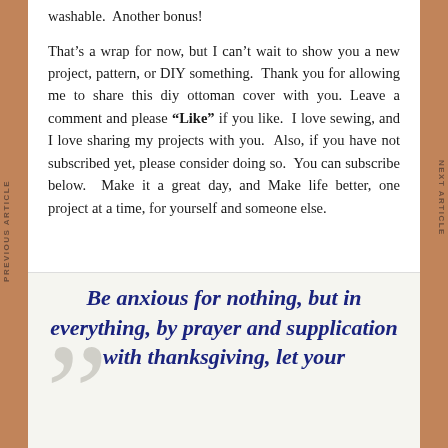washable.  Another bonus!
That’s a wrap for now, but I can’t wait to show you a new project, pattern, or DIY something.  Thank you for allowing me to share this diy ottoman cover with you. Leave a comment and please “Like” if you like.  I love sewing, and I love sharing my projects with you.  Also, if you have not subscribed yet, please consider doing so.  You can subscribe below.  Make it a great day, and Make life better, one project at a time, for yourself and someone else.
Be anxious for nothing, but in everything, by prayer and supplication with thanksgiving, let your